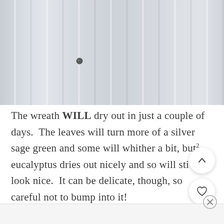[Figure (photo): Close-up photo of a white paneled door or wall with vertical ribbed/ridged surface and a small round door knob visible near center-left]
The wreath WILL dry out in just a couple of days.  The leaves will turn more of a silver sage green and some will whither a bit, but eucalyptus dries out nicely and so will still look nice.  It can be delicate, though, so careful not to bump into it!